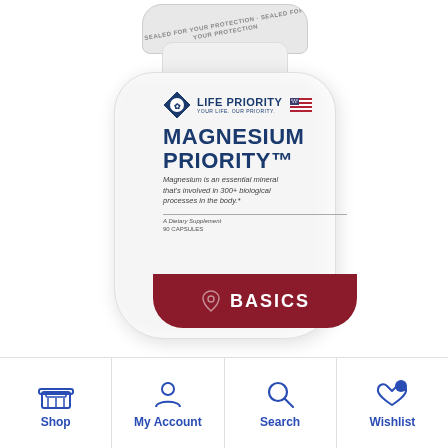[Figure (photo): White supplement bottle labeled 'Magnesium Priority' by Life Priority, with a red 'Basics' banner at the bottom. Bottle has a sealed cap with safety text. The bottle label shows the brand logo, US flag, product name in bold blue text, and a description about magnesium being an essential mineral involved in 300+ biological processes.]
Shop | My Account | Search | Wishlist